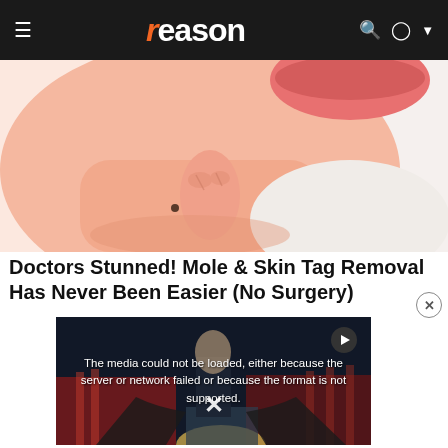reason
[Figure (illustration): Cartoon/illustration of a person touching their face near their chin area, showing skin with a mole, with pink/peach tones on a light background]
Doctors Stunned! Mole & Skin Tag Removal Has Never Been Easier (No Surgery)
[Figure (screenshot): Video player showing a politician at a podium with American flags, overlaid with error text: 'The media could not be loaded, either because the server or network failed or because the format is not supported.' with a play button and X close icon]